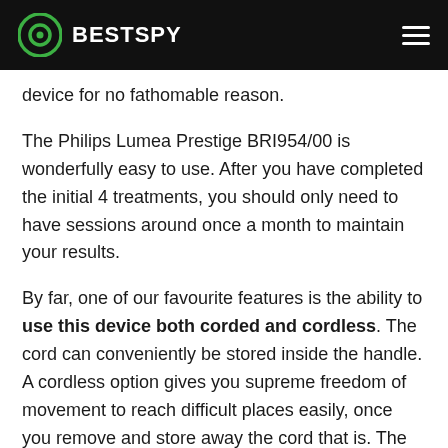BESTSPY
device for no fathomable reason.
The Philips Lumea Prestige BRI954/00 is wonderfully easy to use. After you have completed the initial 4 treatments, you should only need to have sessions around once a month to maintain your results.
By far, one of our favourite features is the ability to use this device both corded and cordless. The cord can conveniently be stored inside the handle. A cordless option gives you supreme freedom of movement to reach difficult places easily, once you remove and store away the cord that is. The corded alternative is super-convenient for those occasions